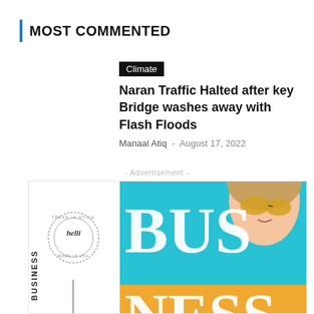MOST COMMENTED
Climate
Naran Traffic Halted after key Bridge washes away with Flash Floods
Manaal Atiq  -  August 17, 2022
- Advertisement -
[Figure (illustration): Advertisement banner featuring a business theme with a woman wearing yellow sunglasses, bold 'BUSINESS' text on teal background, a circular logo stamp, vertical line, rotated 'BUSINESS' text, and a dotted pattern in the top-right corner.]